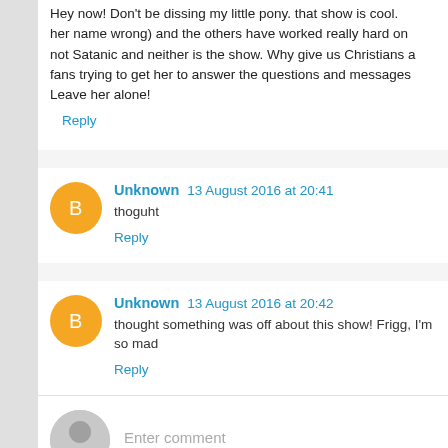Hey now! Don't be dissing my little pony. that show is cool. her name wrong) and the others have worked really hard on not Satanic and neither is the show. Why give us Christians a fans trying to get her to answer the questions and messages Leave her alone!
Reply
Unknown 13 August 2016 at 20:41
thoguht
Reply
Unknown 13 August 2016 at 20:42
thought something was off about this show! Frigg, I'm so mad
Reply
Enter comment